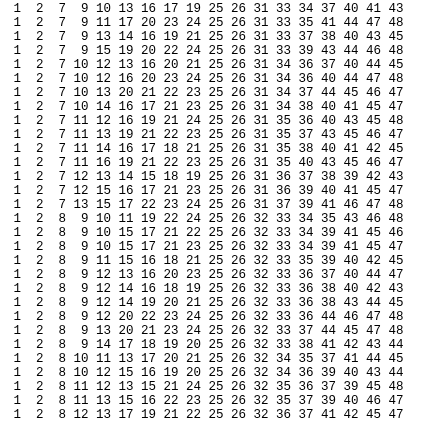| 1 | 2 | 7 | 9 | 10 | 13 | 16 | 17 | 19 | 25 | 26 | 31 | 33 | 34 | 37 | 40 | 41 | 43 |
| 1 | 2 | 7 | 9 | 11 | 17 | 20 | 23 | 24 | 25 | 26 | 31 | 33 | 35 | 41 | 44 | 47 | 48 |
| 1 | 2 | 7 | 9 | 13 | 14 | 16 | 19 | 21 | 25 | 26 | 31 | 33 | 37 | 38 | 40 | 43 | 45 |
| 1 | 2 | 7 | 9 | 15 | 19 | 20 | 22 | 24 | 25 | 26 | 31 | 33 | 39 | 43 | 44 | 46 | 48 |
| 1 | 2 | 7 | 10 | 12 | 13 | 16 | 20 | 21 | 25 | 26 | 31 | 34 | 36 | 37 | 40 | 44 | 45 |
| 1 | 2 | 7 | 10 | 12 | 16 | 20 | 23 | 24 | 25 | 26 | 31 | 34 | 36 | 40 | 44 | 47 | 48 |
| 1 | 2 | 7 | 10 | 13 | 20 | 21 | 22 | 23 | 25 | 26 | 31 | 34 | 37 | 44 | 45 | 46 | 47 |
| 1 | 2 | 7 | 10 | 14 | 16 | 17 | 21 | 23 | 25 | 26 | 31 | 34 | 38 | 40 | 41 | 45 | 47 |
| 1 | 2 | 7 | 11 | 12 | 16 | 19 | 21 | 24 | 25 | 26 | 31 | 35 | 36 | 40 | 43 | 45 | 48 |
| 1 | 2 | 7 | 11 | 13 | 19 | 21 | 22 | 23 | 25 | 26 | 31 | 35 | 37 | 43 | 45 | 46 | 47 |
| 1 | 2 | 7 | 11 | 14 | 16 | 17 | 18 | 21 | 25 | 26 | 31 | 35 | 38 | 40 | 41 | 42 | 45 |
| 1 | 2 | 7 | 11 | 16 | 19 | 21 | 22 | 23 | 25 | 26 | 31 | 35 | 40 | 43 | 45 | 46 | 47 |
| 1 | 2 | 7 | 12 | 13 | 14 | 15 | 18 | 19 | 25 | 26 | 31 | 36 | 37 | 38 | 39 | 42 | 43 |
| 1 | 2 | 7 | 12 | 15 | 16 | 17 | 21 | 23 | 25 | 26 | 31 | 36 | 39 | 40 | 41 | 45 | 47 |
| 1 | 2 | 7 | 13 | 15 | 17 | 22 | 23 | 24 | 25 | 26 | 31 | 37 | 39 | 41 | 46 | 47 | 48 |
| 1 | 2 | 8 | 9 | 10 | 11 | 19 | 22 | 24 | 25 | 26 | 32 | 33 | 34 | 35 | 43 | 46 | 48 |
| 1 | 2 | 8 | 9 | 10 | 15 | 17 | 21 | 22 | 25 | 26 | 32 | 33 | 34 | 39 | 41 | 45 | 46 |
| 1 | 2 | 8 | 9 | 10 | 15 | 17 | 21 | 23 | 25 | 26 | 32 | 33 | 34 | 39 | 41 | 45 | 47 |
| 1 | 2 | 8 | 9 | 11 | 15 | 16 | 18 | 21 | 25 | 26 | 32 | 33 | 35 | 39 | 40 | 42 | 45 |
| 1 | 2 | 8 | 9 | 12 | 13 | 16 | 20 | 23 | 25 | 26 | 32 | 33 | 36 | 37 | 40 | 44 | 47 |
| 1 | 2 | 8 | 9 | 12 | 14 | 16 | 18 | 19 | 25 | 26 | 32 | 33 | 36 | 38 | 40 | 42 | 43 |
| 1 | 2 | 8 | 9 | 12 | 14 | 19 | 20 | 21 | 25 | 26 | 32 | 33 | 36 | 38 | 43 | 44 | 45 |
| 1 | 2 | 8 | 9 | 12 | 20 | 22 | 23 | 24 | 25 | 26 | 32 | 33 | 36 | 44 | 46 | 47 | 48 |
| 1 | 2 | 8 | 9 | 13 | 20 | 21 | 23 | 24 | 25 | 26 | 32 | 33 | 37 | 44 | 45 | 47 | 48 |
| 1 | 2 | 8 | 9 | 14 | 17 | 18 | 19 | 20 | 25 | 26 | 32 | 33 | 38 | 41 | 42 | 43 | 44 |
| 1 | 2 | 8 | 10 | 11 | 13 | 17 | 20 | 21 | 25 | 26 | 32 | 34 | 35 | 37 | 41 | 44 | 45 |
| 1 | 2 | 8 | 10 | 12 | 15 | 16 | 19 | 20 | 25 | 26 | 32 | 34 | 36 | 39 | 40 | 43 | 44 |
| 1 | 2 | 8 | 11 | 12 | 13 | 15 | 21 | 24 | 25 | 26 | 32 | 35 | 36 | 37 | 39 | 45 | 48 |
| 1 | 2 | 8 | 11 | 13 | 15 | 16 | 22 | 23 | 25 | 26 | 32 | 35 | 37 | 39 | 40 | 46 | 47 |
| 1 | 2 | 8 | 12 | 13 | 17 | 19 | 21 | 22 | 25 | 26 | 32 | 36 | 37 | 41 | 42 | 45 | 47 |